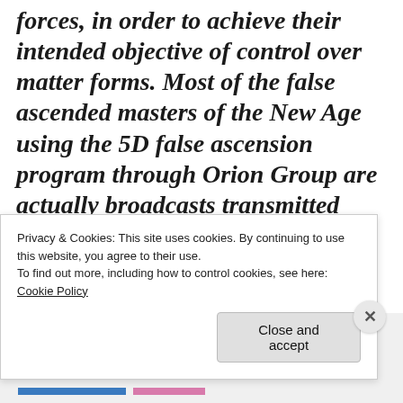forces, in order to achieve their intended objective of control over matter forms. Most of the false ascended masters of the New Age using the 5D false ascension program through Orion Group are actually broadcasts transmitted through the Saturnian body in the 7th dimensional area of the Galactic
Privacy & Cookies: This site uses cookies. By continuing to use this website, you agree to their use.
To find out more, including how to control cookies, see here: Cookie Policy
Close and accept